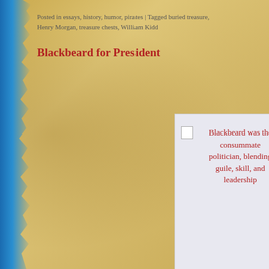Posted in essays, history, humor, pirates | Tagged buried treasure, Henry Morgan, treasure chests, William Kidd
Blackbeard for President
[Figure (photo): Image placeholder with caption: Blackbeard was the consummate politician, blending guile, skill, and leadership]